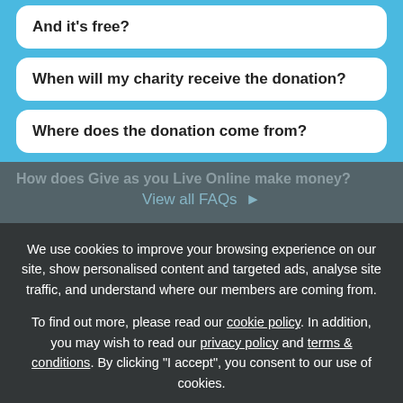And it's free?
When will my charity receive the donation?
Where does the donation come from?
How does Give as you Live Online make money?
View all FAQs >
We use cookies to improve your browsing experience on our site, show personalised content and targeted ads, analyse site traffic, and understand where our members are coming from.
To find out more, please read our cookie policy. In addition, you may wish to read our privacy policy and terms & conditions. By clicking "I accept", you consent to our use of cookies.
✓ Accept all cookies
⚙ Manage settings